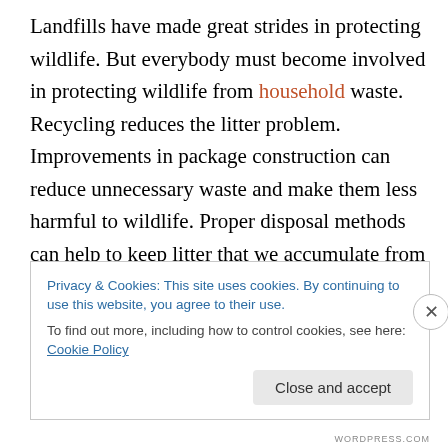Landfills have made great strides in protecting wildlife. But everybody must become involved in protecting wildlife from household waste. Recycling reduces the litter problem. Improvements in package construction can reduce unnecessary waste and make them less harmful to wildlife. Proper disposal methods can help to keep litter that we accumulate from becoming a death trap to wild animals. If people learn to respect the environment and are aware of the threat trash poses to wildlife, they will be less likely to litter.
Privacy & Cookies: This site uses cookies. By continuing to use this website, you agree to their use. To find out more, including how to control cookies, see here: Cookie Policy